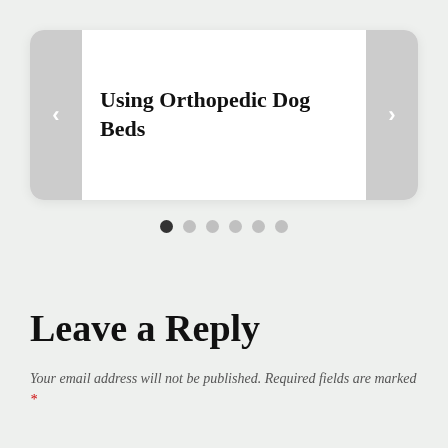[Figure (screenshot): A slider/carousel card with navigation arrows on left and right, showing the title 'Using Orthopedic Dog Beds']
[Figure (other): Pagination dots row: 6 dots, first is dark/active, rest are light gray]
Leave a Reply
Your email address will not be published. Required fields are marked *